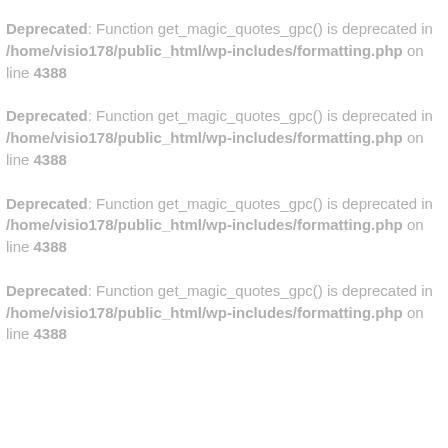Deprecated: Function get_magic_quotes_gpc() is deprecated in /home/visio178/public_html/wp-includes/formatting.php on line 4388
Deprecated: Function get_magic_quotes_gpc() is deprecated in /home/visio178/public_html/wp-includes/formatting.php on line 4388
Deprecated: Function get_magic_quotes_gpc() is deprecated in /home/visio178/public_html/wp-includes/formatting.php on line 4388
Deprecated: Function get_magic_quotes_gpc() is deprecated in /home/visio178/public_html/wp-includes/formatting.php on line 4388